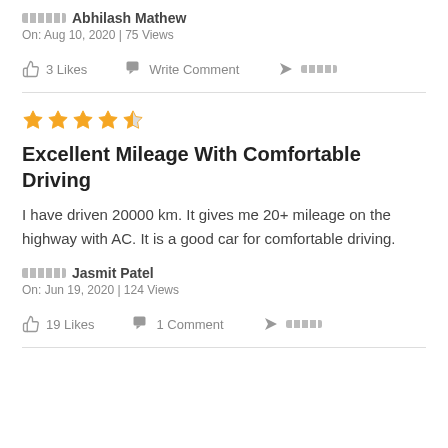Abhilash Mathew
On: Aug 10, 2020 | 75 Views
3 Likes   Write Comment   Share
Excellent Mileage With Comfortable Driving
I have driven 20000 km. It gives me 20+ mileage on the highway with AC. It is a good car for comfortable driving.
Jasmit Patel
On: Jun 19, 2020 | 124 Views
19 Likes   1 Comment   Share